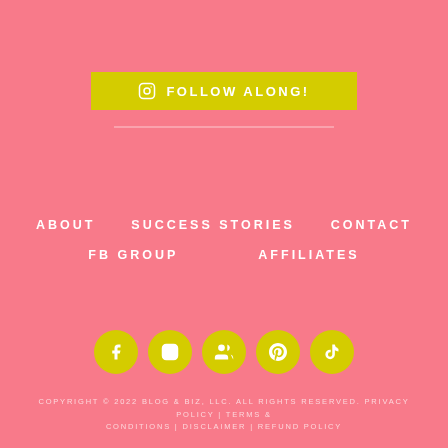[Figure (infographic): Yellow button with Instagram icon and text FOLLOW ALONG!]
ABOUT   SUCCESS STORIES   CONTACT
FB GROUP   AFFILIATES
[Figure (infographic): Row of 5 yellow circular social media icons: Facebook, Instagram, Facebook Group (people), Pinterest, TikTok]
COPYRIGHT © 2022 BLOG & BIZ, LLC. ALL RIGHTS RESERVED. PRIVACY POLICY | TERMS & CONDITIONS | DISCLAIMER | REFUND POLICY